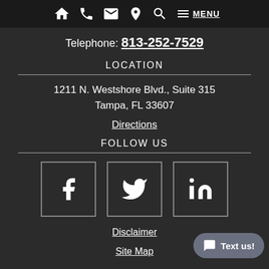Navigation bar with home, phone, email, location, search, menu icons
Telephone: 813-252-7529
LOCATION
1211 N. Westshore Blvd., Suite 315
Tampa, FL 33607
Directions
FOLLOW US
[Figure (infographic): Three social media icon boxes: Facebook (f), Twitter (bird), LinkedIn (in)]
Disclaimer
Site Map
Text us!